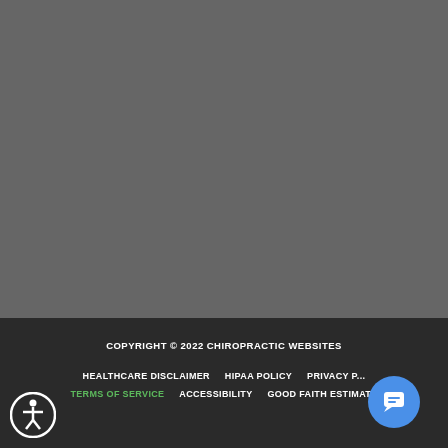[Figure (photo): Gray background area, top portion of page, appears to be a cropped website screenshot]
COPYRIGHT © 2022 CHIROPRACTIC WEBSITES
HEALTHCARE DISCLAIMER   HIPAA POLICY   PRIVACY P...   TERMS OF SERVICE   ACCESSIBILITY   GOOD FAITH ESTIMATE